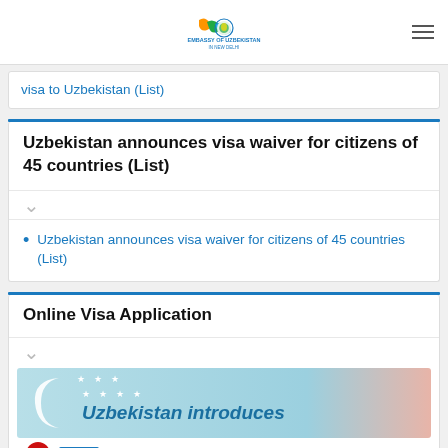Embassy of Uzbekistan in New Delhi
visa to Uzbekistan (List)
Uzbekistan announces visa waiver for citizens of 45 countries (List)
Uzbekistan announces visa waiver for citizens of 45 countries (List)
Online Visa Application
[Figure (illustration): Banner image with light blue background showing a white crescent moon, decorative stars, and text 'Uzbekistan introduces' in teal/blue italic font]